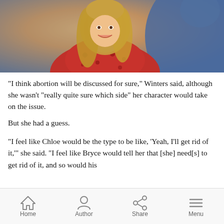[Figure (photo): A smiling blonde woman in a red floral dress with a necklace, photographed with a person in a blue jacket in the foreground, shallow depth of field]
"I think abortion will be discussed for sure," Winters said, although she wasn’t “really quite sure which side” her character would take on the issue.
But she had a guess.
“I feel like Chloe would be the type to be like, ‘Yeah, I’ll get rid of it,’” she said. “I feel like Bryce would tell her that [she] need[s] to get rid of it, and so would his
Home  Author  Share  Menu